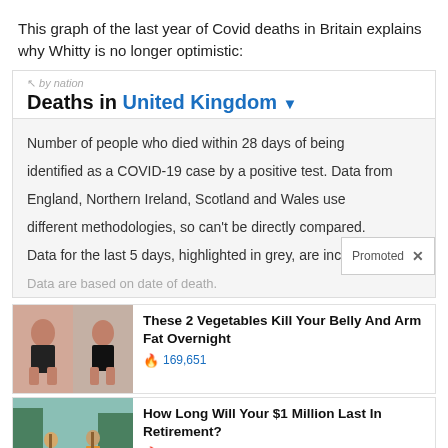This graph of the last year of Covid deaths in Britain explains why Whitty is no longer optimistic:
[Figure (screenshot): Screenshot of Our World in Data deaths chart for United Kingdom with description tooltip visible. Header reads 'Deaths in United Kingdom' with dropdown arrow. Description text: 'Number of people who died within 28 days of being identified as a COVID-19 case by a positive test. Data from England, Northern Ireland, Scotland and Wales use different methodologies, so can't be directly compared. Data for the last 5 days, highlighted in grey, are incomplete.' A 'Promoted X' popup overlay appears at bottom right.]
[Figure (infographic): Sponsored ad showing two before/after photos of a woman in a bikini, with headline 'These 2 Vegetables Kill Your Belly And Arm Fat Overnight' and engagement count 169,651 with fire icon.]
[Figure (infographic): Sponsored ad showing two people paddleboarding with a dog, with headline 'How Long Will Your $1 Million Last In Retirement?' and engagement count 546 with fire icon.]